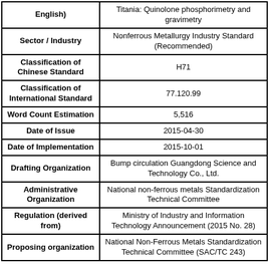| Field | Value |
| --- | --- |
| English) | Titania: Quinolone phosphorimetry and gravimetry |
| Sector / Industry | Nonferrous Metallurgy Industry Standard (Recommended) |
| Classification of Chinese Standard | H71 |
| Classification of International Standard | 77.120.99 |
| Word Count Estimation | 5,516 |
| Date of Issue | 2015-04-30 |
| Date of Implementation | 2015-10-01 |
| Drafting Organization | Bump circulation Guangdong Science and Technology Co., Ltd. |
| Administrative Organization | National non-ferrous metals Standardization Technical Committee |
| Regulation (derived from) | Ministry of Industry and Information Technology Announcement (2015 No. 28) |
| Proposing organization | National Non-Ferrous Metals Standardization Technical Committee (SAC/TC 243) |